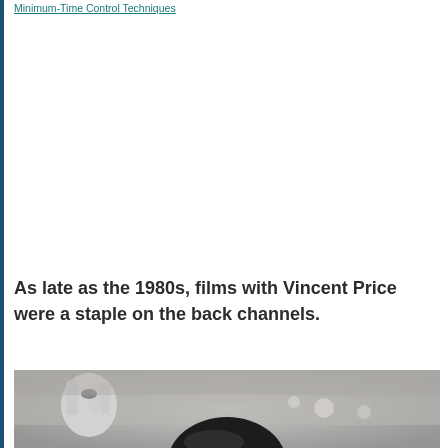Minimum-Time Control Techniques
As late as the 1980s, films with Vincent Price were a staple on the back channels.
[Figure (photo): Black and white photograph showing the top of a person's head with dark hair, and a hand visible on the left side, with blurred background lights.]